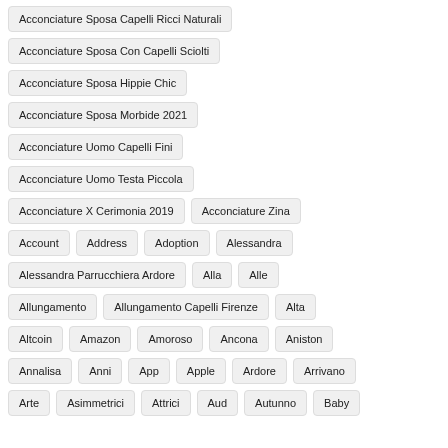Acconciature Sposa Capelli Ricci Naturali
Acconciature Sposa Con Capelli Sciolti
Acconciature Sposa Hippie Chic
Acconciature Sposa Morbide 2021
Acconciature Uomo Capelli Fini
Acconciature Uomo Testa Piccola
Acconciature X Cerimonia 2019
Acconciature Zina
Account
Address
Adoption
Alessandra
Alessandra Parrucchiera Ardore
Alla
Alle
Allungamento
Allungamento Capelli Firenze
Alta
Altcoin
Amazon
Amoroso
Ancona
Aniston
Annalisa
Anni
App
Apple
Ardore
Arrivano
Arte
Asimmetrici
Attrici
Aud
Autunno
Baby